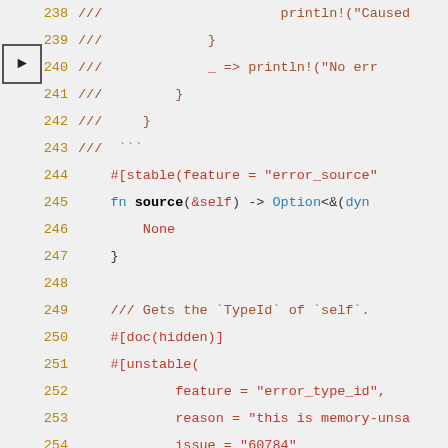[Figure (screenshot): Code viewer arrow/highlight marker on line 239]
238  ///                     println!("Caused
239  ///             }
240  ///             _ => println!("No err
241  ///         }
242  ///     }
243  ///  ```
244      #[stable(feature = "error_source"
245      fn source(&self) -> Option<&(dyn
246          None
247      }
248  
249      /// Gets the `TypeId` of `self`.
250      #[doc(hidden)]
251      #[unstable(
252              feature = "error_type_id",
253              reason = "this is memory-unsa
254              issue = "60784"
255      )]
256      fn type_id(&self,  : private::Int